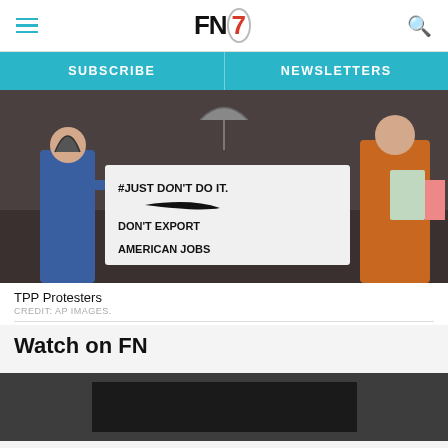FN7 — SUBSCRIBE | NEWSLETTERS
[Figure (photo): Protesters holding a banner reading '#JustDontDoIt. Don't Export American Jobs' with a Nike swoosh logo, standing in the rain.]
TPP Protesters
CREDIT: AP IMAGES.
Watch on FN
[Figure (screenshot): Video player placeholder, dark background with a black inner video panel.]